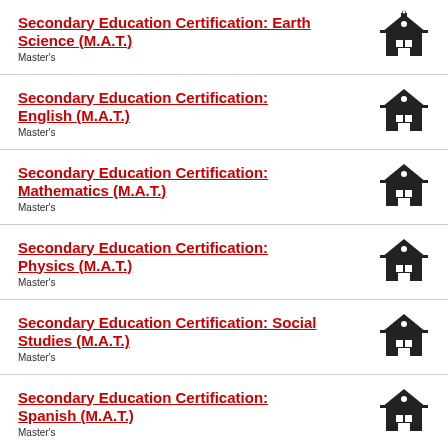Secondary Education Certification: Earth Science (M.A.T.)
Master's
Secondary Education Certification: English (M.A.T.)
Master's
Secondary Education Certification: Mathematics (M.A.T.)
Master's
Secondary Education Certification: Physics (M.A.T.)
Master's
Secondary Education Certification: Social Studies (M.A.T.)
Master's
Secondary Education Certification: Spanish (M.A.T.)
Master's
Social Work (M.S.W.)